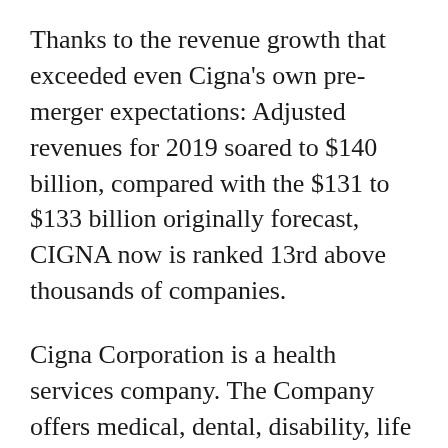Thanks to the revenue growth that exceeded even Cigna's own pre-merger expectations: Adjusted revenues for 2019 soared to $140 billion, compared with the $131 to $133 billion originally forecast, CIGNA now is ranked 13rd above thousands of companies.
Cigna Corporation is a health services company. The Company offers medical, dental, disability, life and accident insurance and related products and services. The Company's segments include Global Health Care, Global Supplemental Benefits, Group Disability and Life, and Other Operations and Corporate. Its Global Health Care segment aggregates the commercial and Government